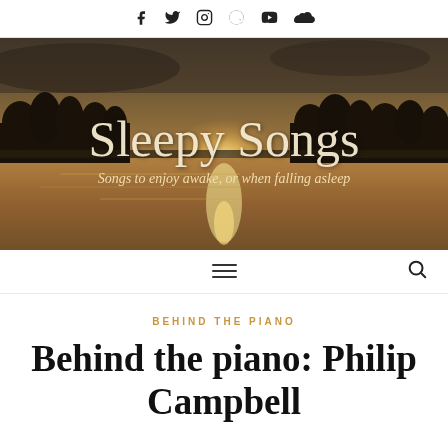Social icons: f (Facebook), Twitter bird, Instagram, Reddit, YouTube, Soundcloud
[Figure (photo): Scenic lakeside sunset photo with silhouetted trees and golden reflections on water, overlaid with script text 'Sleepy Songs' and subtitle 'Songs to enjoy awake, or when falling asleep']
Navigation bar with hamburger menu icon and search icon
BEHIND THE PIANO
Behind the piano: Philip Campbell